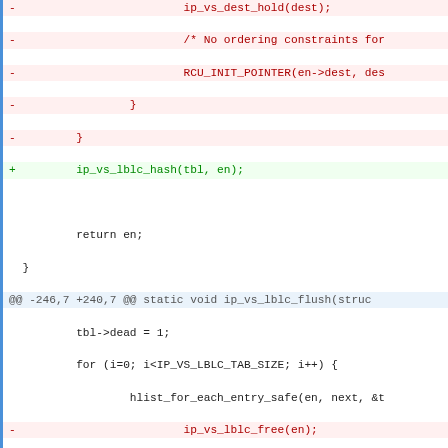[Figure (screenshot): Code diff showing changes to ip_vs_lblc.c kernel file, with removed lines (red -) and added lines (green +) in unified diff format. Shows three hunks: around line 246, 281, and 335.]